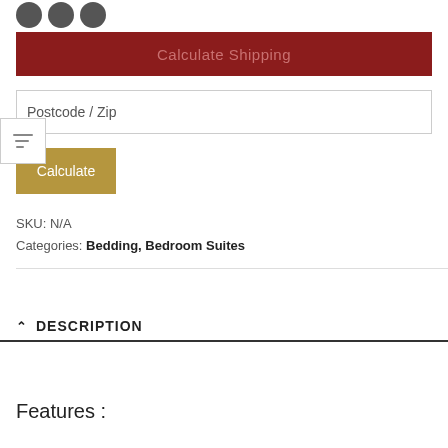[Figure (other): Three dark circular social media icons at top]
Calculate Shipping
Postcode / Zip
Calculate
SKU: N/A
Categories: Bedding, Bedroom Suites
DESCRIPTION
Features :